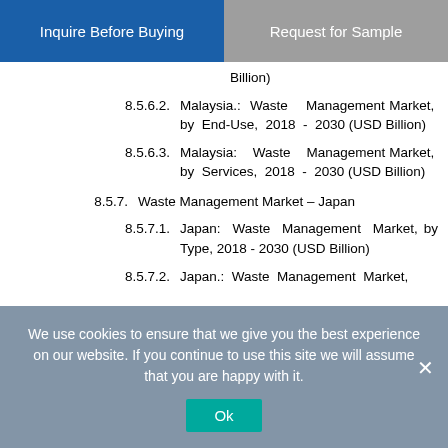[Figure (screenshot): Two buttons: 'Inquire Before Buying' (blue) and 'Request for Sample' (gray)]
Billion)
8.5.6.2. Malaysia.: Waste Management Market, by End-Use, 2018 - 2030 (USD Billion)
8.5.6.3. Malaysia: Waste Management Market, by Services, 2018 - 2030 (USD Billion)
8.5.7. Waste Management Market – Japan
8.5.7.1. Japan: Waste Management Market, by Type, 2018 - 2030 (USD Billion)
8.5.7.2. Japan.: Waste Management Market,
We use cookies to ensure that we give you the best experience on our website. If you continue to use this site we will assume that you are happy with it.